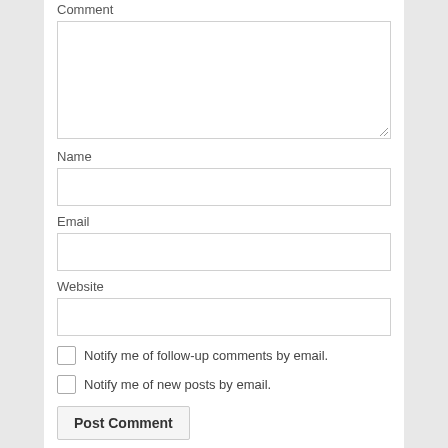Comment
[Figure (screenshot): Large textarea input field for comment]
Name
[Figure (screenshot): Single-line text input field for Name]
Email
[Figure (screenshot): Single-line text input field for Email]
Website
[Figure (screenshot): Single-line text input field for Website]
Notify me of follow-up comments by email.
Notify me of new posts by email.
Post Comment